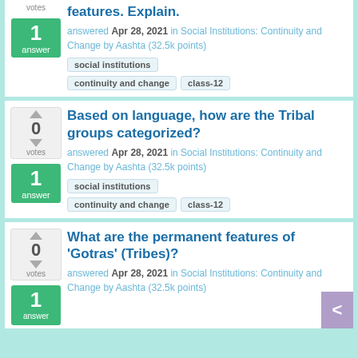features. Explain.
answered Apr 28, 2021 in Social Institutions: Continuity and Change by Aashta (32.5k points)
social institutions
continuity and change
class-12
Based on language, how are the Tribal groups categorized?
answered Apr 28, 2021 in Social Institutions: Continuity and Change by Aashta (32.5k points)
social institutions
continuity and change
class-12
What are the permanent features of 'Gotras' (Tribes)?
answered Apr 28, 2021 in Social Institutions: Continuity and Change by Aashta (32.5k points)